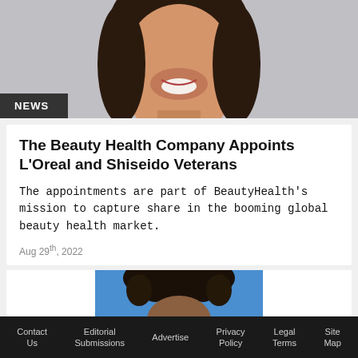[Figure (photo): Headshot of a woman with dark hair smiling against a light grey background, cropped to show face and upper body]
NEWS
The Beauty Health Company Appoints L'Oreal and Shiseido Veterans
The appointments are part of BeautyHealth's mission to capture share in the booming global beauty health market.
Aug 29th, 2022
[Figure (photo): Partial headshot of a person with dark curly hair against a blue background, only top of head visible]
Contact Us   Editorial Submissions   Advertise   Privacy Policy   Legal Terms   Site Map